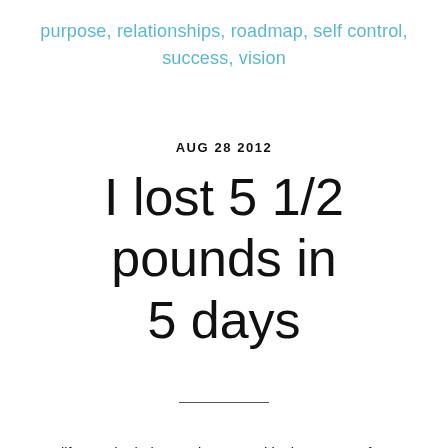purpose, relationships, roadmap, self control, success, vision
AUG 28 2012
I lost 5 1/2 pounds in 5 days
As a life coach I help people succeed in the Fun 5s of